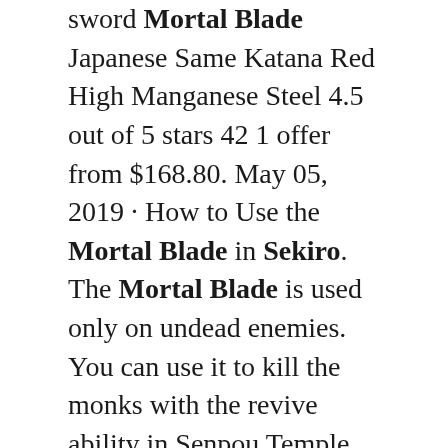sword Mortal Blade Japanese Same Katana Red High Manganese Steel 4.5 out of 5 stars 42 1 offer from $168.80. May 05, 2019 · How to Use the Mortal Blade in Sekiro. The Mortal Blade is used only on undead enemies. You can use it to kill the monks with the revive ability in Senpou Temple. There are also numerous characters that can be killed with the Mortal Blade. The Mortal Blade can be used to kill Hanbei the Undying, as well as the Headless Ape.. Quick Item: Mortal Blade Item Description: An odachi capable of slaying the undying. Its crimson blade will take the life of any who dares draw it. Without the power of Resurrection, one could not hope to wield this weapon, which allows one to defeat even infested beings. Long concealed within Senpou Temple, the blade is inscribed with. My attempt on recreating the Mortal Blade from Sekiro Shadows Die Twice game. -